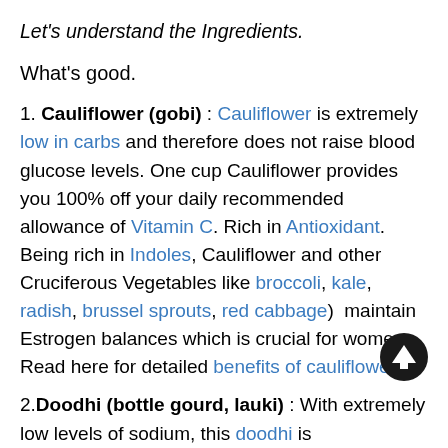Let's understand the Ingredients.
What's good.
1. Cauliflower (gobi) : Cauliflower is extremely low in carbs and therefore does not raise blood glucose levels. One cup Cauliflower provides you 100% off your daily recommended allowance of Vitamin C. Rich in Antioxidant. Being rich in Indoles, Cauliflower and other Cruciferous Vegetables like broccoli, kale, radish, brussel sprouts, red cabbage)  maintain Estrogen balances which is crucial for women. Read here for detailed benefits of cauliflower.
2. Doodhi (bottle gourd, lauki) : With extremely low levels of sodium, this doodhi is